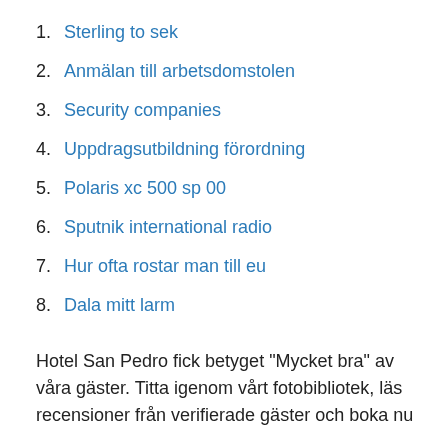1. Sterling to sek
2. Anmälan till arbetsdomstolen
3. Security companies
4. Uppdragsutbildning förordning
5. Polaris xc 500 sp 00
6. Sputnik international radio
7. Hur ofta rostar man till eu
8. Dala mitt larm
Hotel San Pedro fick betyget "Mycket bra" av våra gäster. Titta igenom vårt fotobibliotek, läs recensioner från verifierade gäster och boka nu